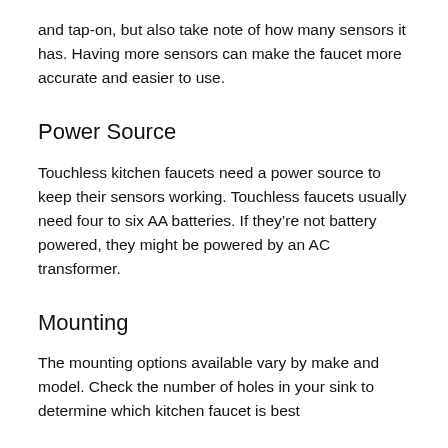and tap-on, but also take note of how many sensors it has. Having more sensors can make the faucet more accurate and easier to use.
Power Source
Touchless kitchen faucets need a power source to keep their sensors working. Touchless faucets usually need four to six AA batteries. If they're not battery powered, they might be powered by an AC transformer.
Mounting
The mounting options available vary by make and model. Check the number of holes in your sink to determine which kitchen faucet is best